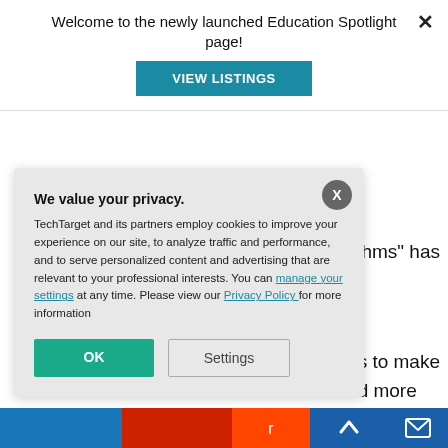Welcome to the newly launched Education Spotlight page!
VIEW LISTINGS
gorithms" has
ns to make
nd more
[Figure (screenshot): Privacy consent overlay with title 'We value your privacy.', body text about TechTarget cookies, links to manage settings and Privacy Policy, OK and Settings buttons. Dark X close button in top-right of overlay.]
We value your privacy.
TechTarget and its partners employ cookies to improve your experience on our site, to analyze traffic and performance, and to serve personalized content and advertising that are relevant to your professional interests. You can manage your settings at any time. Please view our Privacy Policy for more information
OK
Settings